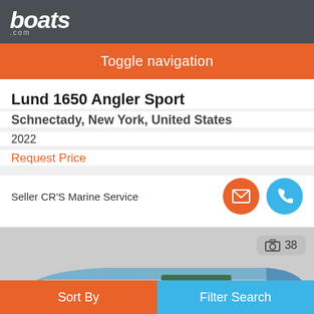boats .com
Toggle navigation
Lund 1650 Angler Sport
Schnectady, New York, United States
2022
Request Price
Seller CR'S Marine Service
[Figure (photo): Interior top-down view of a blue and gray Lund 1650 Angler Sport boat showing seating and console]
Sort By   Filter Search